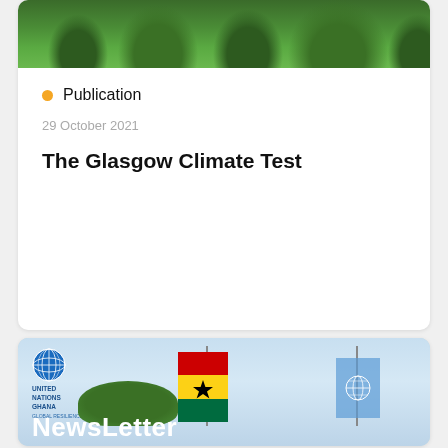[Figure (photo): Forest canopy photo at top of card]
Publication
29 October 2021
The Glasgow Climate Test
[Figure (photo): United Nations Ghana newsletter card with Ghana flag and UN flag against sky background, with 'NewsLetter' text overlay]